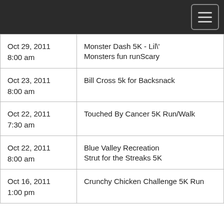| Date/Time | Event |
| --- | --- |
| Oct 29, 2011 8:00 am | Monster Dash 5K - Lil' Monsters fun runScary |
| Oct 23, 2011 8:00 am | Bill Cross 5k for Backsnack |
| Oct 22, 2011 7:30 am | Touched By Cancer 5K Run/Walk |
| Oct 22, 2011 8:00 am | Blue Valley Recreation Strut for the Streaks 5K |
| Oct 16, 2011 1:00 pm | Crunchy Chicken Challenge 5K Run |